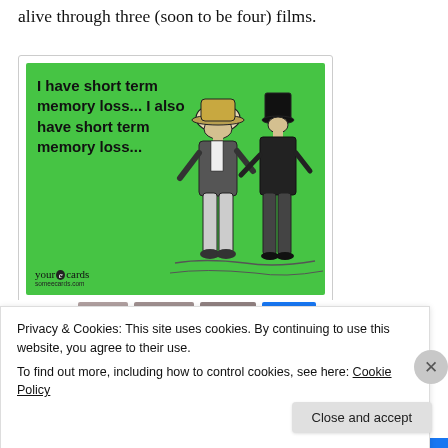alive through three (soon to be four) films.
[Figure (illustration): A green ecard from someecards.com showing two Victorian-era figures talking. Text reads: 'I have short term memory loss... I also have short term memory loss...' with the yourEcards logo and someecards.com watermark.]
Privacy & Cookies: This site uses cookies. By continuing to use this website, you agree to their use.
To find out more, including how to control cookies, see here: Cookie Policy
Close and accept